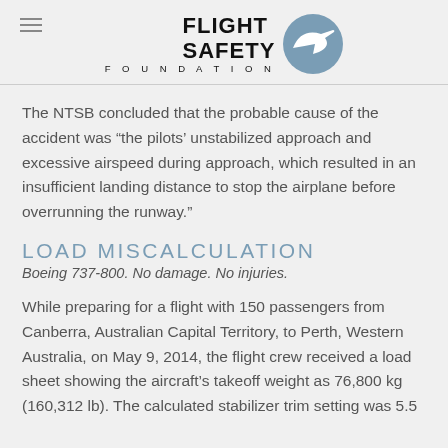[Figure (logo): Flight Safety Foundation logo with stylized airplane icon in blue circle and bold text FLIGHT SAFETY FOUNDATION]
The NTSB concluded that the probable cause of the accident was “the pilots’ unstabilized approach and excessive airspeed during approach, which resulted in an insufficient landing distance to stop the airplane before overrunning the runway.”
LOAD MISCALCULATION
Boeing 737-800. No damage. No injuries.
While preparing for a flight with 150 passengers from Canberra, Australian Capital Territory, to Perth, Western Australia, on May 9, 2014, the flight crew received a load sheet showing the aircraft’s takeoff weight as 76,800 kg (160,312 lb). The calculated stabilizer trim setting was 5.5